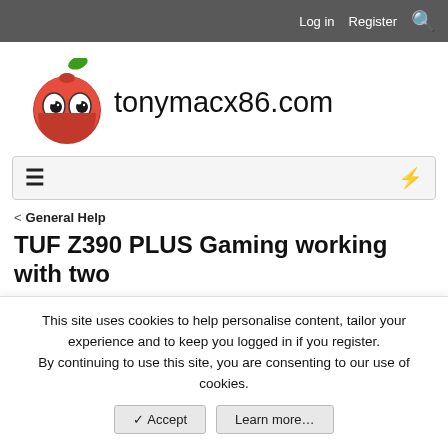Log in  Register  [search]
[Figure (logo): tonymacx86.com website logo — a red apple cartoon character with googly eyes and a green leaf, next to the text 'tonymacx86.com']
≡  ⚡
< General Help
TUF Z390 PLUS Gaming working with two
This site uses cookies to help personalise content, tailor your experience and to keep you logged in if you register.
By continuing to use this site, you are consenting to our use of cookies.
✓ Accept   Learn more…